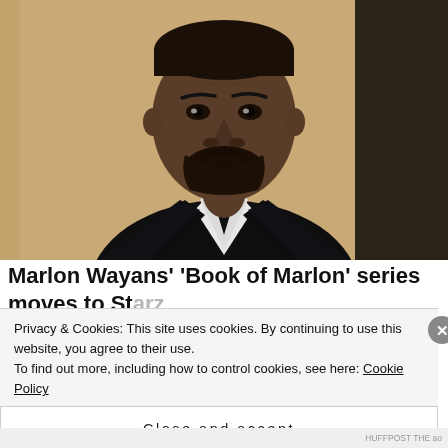[Figure (photo): Portrait photo of Marlon Wayans in a black blazer over a white V-neck shirt, against a warm tan/gold background. He has a short beard and is looking directly at the camera with a serious expression.]
Marlon Wayans' 'Book of Marlon' series moves to Starz
Privacy & Cookies: This site uses cookies. By continuing to use this website, you agree to their use.
To find out more, including how to control cookies, see here: Cookie Policy
Close and accept